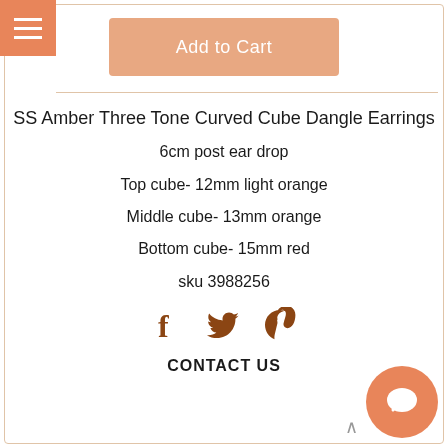[Figure (other): Add to Cart button (salmon/peach colored)]
SS Amber Three Tone Curved Cube Dangle Earrings
6cm post ear drop
Top cube- 12mm light orange
Middle cube- 13mm orange
Bottom cube- 15mm red
sku 3988256
[Figure (other): Social media icons: Facebook, Twitter, Pinterest in orange/brown color]
CONTACT US